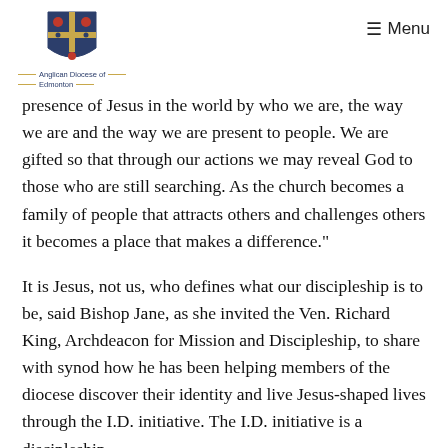Anglican Diocese of Edmonton | Menu
presence of Jesus in the world by who we are, the way we are and the way we are present to people. We are gifted so that through our actions we may reveal God to those who are still searching. As the church becomes a family of people that attracts others and challenges others it becomes a place that makes a difference."
It is Jesus, not us, who defines what our discipleship is to be, said Bishop Jane, as she invited the Ven. Richard King, Archdeacon for Mission and Discipleship, to share with synod how he has been helping members of the diocese discover their identity and live Jesus-shaped lives through the I.D. initiative. The I.D. initiative is a discipleship